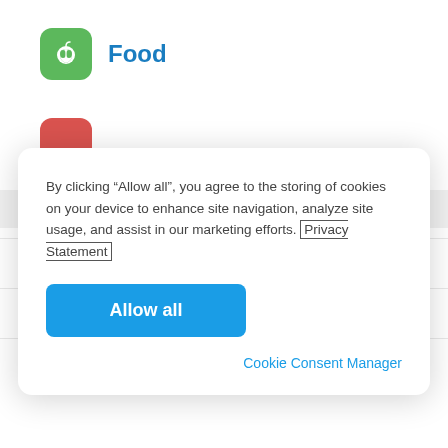[Figure (logo): Green rounded square icon with white apple symbol]
Food
By clicking “Allow all”, you agree to the storing of cookies on your device to enhance site navigation, analyze site usage, and assist in our marketing efforts. Privacy Statement
Allow all
Cookie Consent Manager
Worldwide
Hong Kong
China